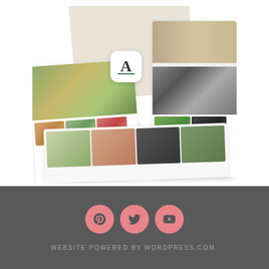[Figure (screenshot): App screenshot mockup showing a food/recipe website or app with food photos, white card panels arranged at angles, a letter A icon with green underline, and a 'REPORT THIS AD' link at bottom right]
REPORT THIS AD
WEBSITE POWERED BY WORDPRESS.COM.